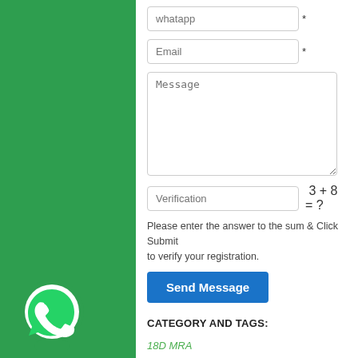[Figure (screenshot): Web contact form with fields: whatapp (required), Email (required), Message textarea, Verification field with CAPTCHA math '3 + 8 = ?', Send Message button, Category and Tags section, navigation links]
whatapp *
Email *
Message
Verification  3 + 8 = ?
Please enter the answer to the sum & Click Submit to verify your registration.
Send Message
CATEGORY AND TAGS:
18D MRA
Health Care Products, Herbal Treatment Equipment for Home / Hospital, Metatron NLS Body Analyzer
Prev: Nonlinear Detection   Next: Nuclear Magnetic